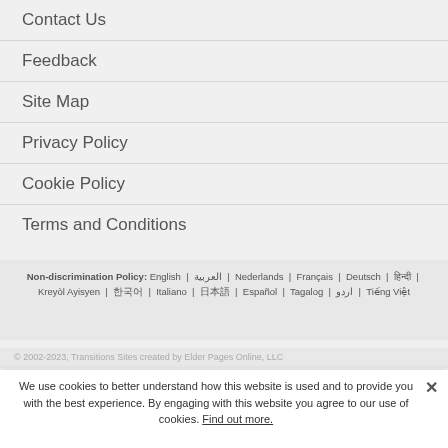Contact Us
Feedback
Site Map
Privacy Policy
Cookie Policy
Terms and Conditions
Non-discrimination Policy: English | العربية | Nederlands | Français | Deutsch | हिन्दी | Kreyòl Ayisyen | 한국어 | Italiano | 日本語 | Español | Tagalog | اردو | Tiếng Việt
© 2002-2023, Transitions Sites created by Elder Pages Online, LLC
We use cookies to better understand how this website is used and to provide you with the best experience. By engaging with this website you agree to our use of cookies. Find out more.